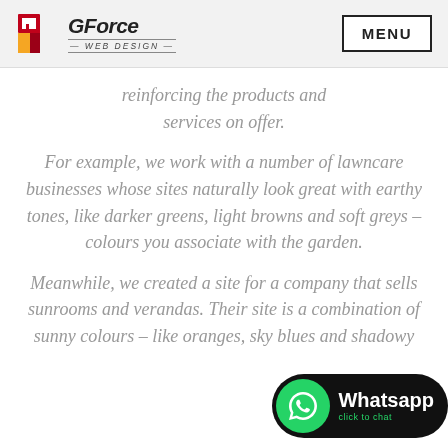[Figure (logo): GForce Web Design logo with stylized G icon in red and yellow/orange, and MENU button on the right]
reinforcing the products and services on offer.
For example, we work with a number of lawncare businesses whose sites naturally look great with earthy tones, like darker greens, light browns and soft greys – colours you associate with the garden.
Meanwhile, we created a site for a company that sells sunrooms and verandas. Their site is a combination of sunny colours – like oranges, sky blues and shadowy